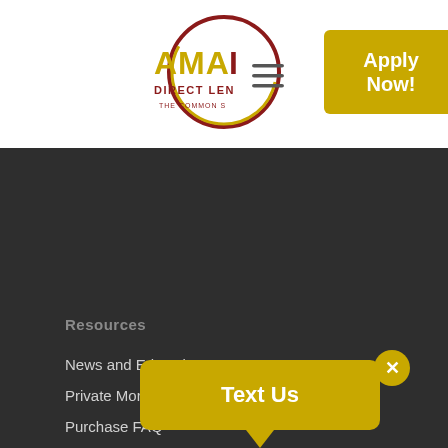[Figure (logo): AMAI Direct Lender logo with circular gold and dark red design, text reads DIRECT LENDER THE COMMON S...]
[Figure (other): Yellow Apply Now! button overlaid on logo area]
[Figure (other): Hamburger menu icon (three horizontal lines)]
Resources
News and Education
Private Mortgage FAQ
Purchase FAQ
Refinancing FAQ
1st Mortgage FAQ
Mortgage R...
Stop Foreclosure FAQ
[Figure (other): Yellow Text Us speech bubble widget with close X button]